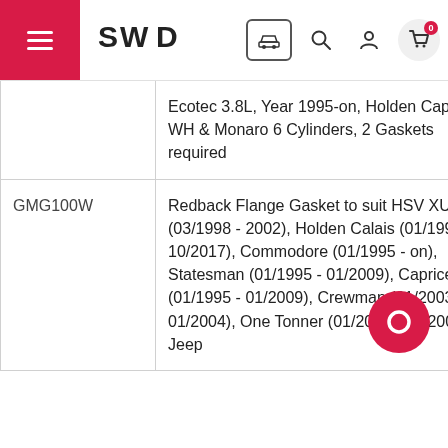SWD — navigation header with menu, logo, car icon, search, account, cart
| Code | Description |
| --- | --- |
|  | Ecotec 3.8L, Year 1995-on, Holden Caprice WH & Monaro 6 Cylinders, 2 Gaskets required |
| GMG100W | Redback Flange Gasket to suit HSV XU6 (03/1998 - 2002), Holden Calais (01/1995 - 10/2017), Commodore (01/1995 - on), Statesman (01/1995 - 01/2009), Caprice (01/1995 - 01/2009), Crewman (01/2003 - 01/2004), One Tonner (01/2003 - 01/2004), Jeep |